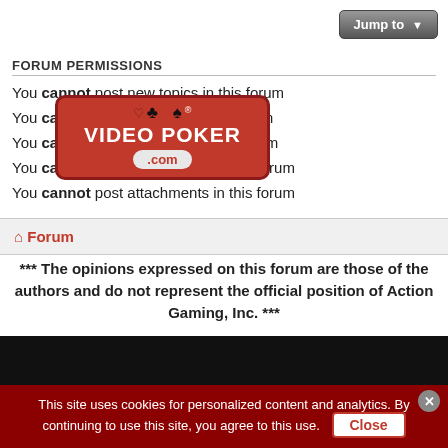FORUM PERMISSIONS
You cannot post new topics in this forum
You cannot reply to topics in this forum
You cannot edit your posts in this forum
You cannot delete your posts in this forum
You cannot post attachments in this forum
[Figure (logo): VideoPoker.com logo with red badge, card suit icons, and .com in grey pill]
Forum
*** The opinions expressed on this forum are those of the authors and do not represent the official position of Action Gaming, Inc. ***
[Figure (screenshot): Black video player block]
[Figure (screenshot): Advertisement banner: Get all the perks with Plus. 2% Sam's Cash. On qualifying purchases, up to $500/year.]
This site uses cookies for personalized content and analytics. By continuing to use this site, you agree to this use. Close